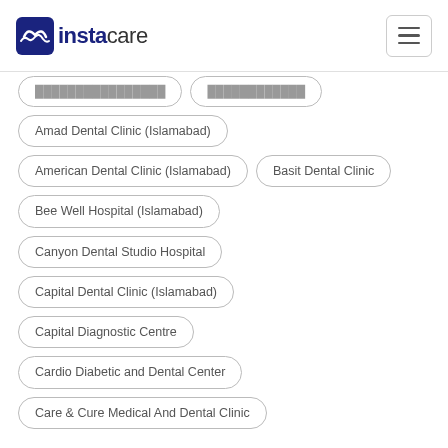instacare
Amad Dental Clinic (Islamabad)
American Dental Clinic (Islamabad)
Basit Dental Clinic
Bee Well Hospital (Islamabad)
Canyon Dental Studio Hospital
Capital Dental Clinic (Islamabad)
Capital Diagnostic Centre
Cardio Diabetic and Dental Center
Care & Cure Medical And Dental Clinic
Dentist In Areas Near You